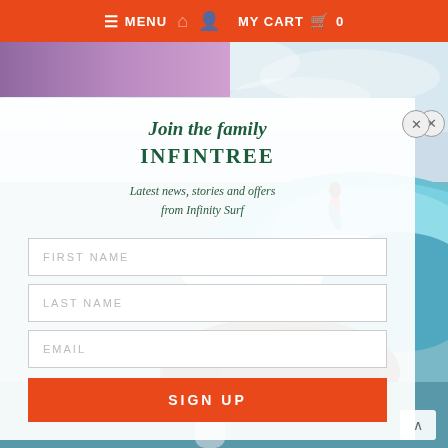≡ MENU  🏠  👤  MY CART  🛒  0
[Figure (screenshot): Background surf/ocean photograph showing a surfer riding a large turquoise wave with rocky coastline and sky. A surfboard fin is visible at the bottom.]
Join the family INFINTREE
Latest news, stories and offers from Infinity Surf
FIRST NAME
LAST NAME
EMAIL
SIGN UP